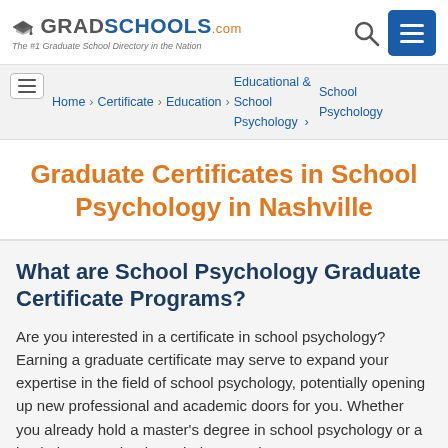GradSchools.com — The #1 Graduate School Directory in the Nation
Home > Certificate > Education > Educational & School Psychology > School Psychology
Graduate Certificates in School Psychology in Nashville
What are School Psychology Graduate Certificate Programs?
Are you interested in a certificate in school psychology? Earning a graduate certificate may serve to expand your expertise in the field of school psychology, potentially opening up new professional and academic doors for you. Whether you already hold a master's degree in school psychology or a bachelor's, a school psychology graduate